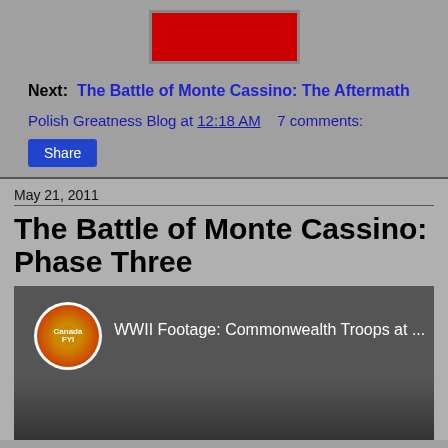[Figure (other): Red button image centered at top of page]
Next:  The Battle of Monte Cassino: The Aftermath
Polish Greatness Blog at 12:18 AM   7 comments:
Share
May 21, 2011
The Battle of Monte Cassino: Phase Three
[Figure (screenshot): YouTube video thumbnail showing WWII Footage: Commonwealth Troops at ... with Canada FYI channel logo]